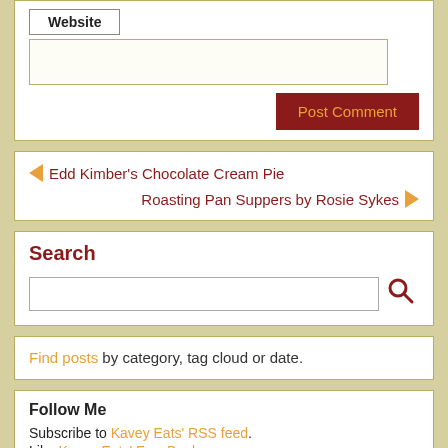Website (form field with Post Comment button)
◄ Edd Kimber's Chocolate Cream Pie
Roasting Pan Suppers by Rosie Sykes ►
Search
Find posts by category, tag cloud or date.
Follow Me
Subscribe to Kavey Eats' RSS feed.
Like Kavey Eats' FaceBook page.
Visit Kavey Eats' Pinterest boards.
Follow Kavey on Instagram.